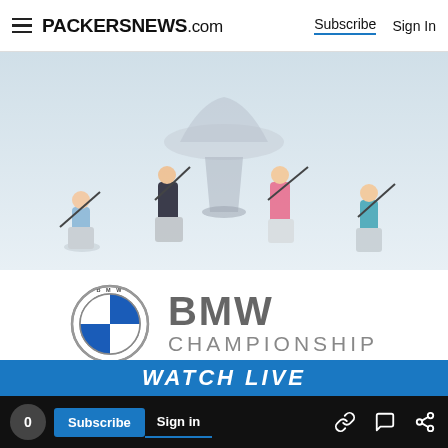PACKERSNEWS.com  Subscribe  Sign In
[Figure (photo): Four golfers mid-swing posed around a large silver trophy/bowl on a light blue-grey background. Left golfer in blue shirt, second in dark shirt, third in pink shirt, fourth in teal shirt.]
[Figure (logo): BMW circular logo with blue and white quadrants and BMW text around the ring]
BMW CHAMPIONSHIP
TODAY-SUNDAY
WATCH LIVE
0  Subscribe  Sign in  [link icon] [chat icon] [share icon]